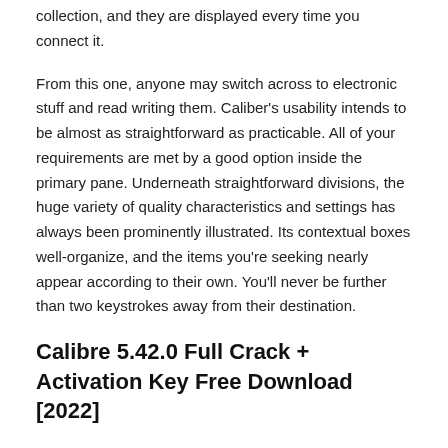collection, and they are displayed every time you connect it.
From this one, anyone may switch across to electronic stuff and read writing them. Caliber's usability intends to be almost as straightforward as practicable. All of your requirements are met by a good option inside the primary pane. Underneath straightforward divisions, the huge variety of quality characteristics and settings has always been prominently illustrated. Its contextual boxes well-organize, and the items you're seeking nearly appear according to their own. You'll never be further than two keystrokes away from their destination.
Calibre 5.42.0 Full Crack + Activation Key Free Download [2022]
It's the product of decades of customer input and optimizing the caliber's appearance. You may also